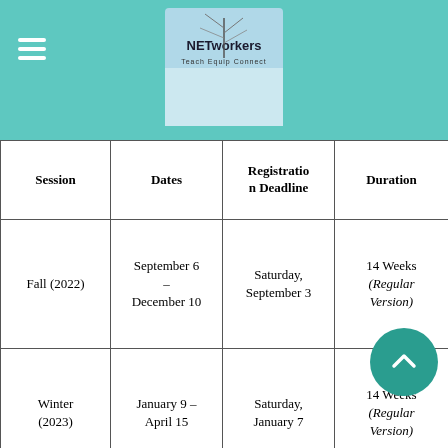NETworkers Teach Equip Connect
| Session | Dates | Registration Deadline | Duration |
| --- | --- | --- | --- |
| Fall (2022) | September 6 – December 10 | Saturday, September 3 | 14 Weeks (Regular Version) |
| Winter (2023) | January 9 – April 15 | Saturday, January 7 | 14 Weeks (Regular Version) |
| Summer (2023) | May 30 – August 5 | Saturday, May 27 | 10 Weeks (Accelerated Version) |